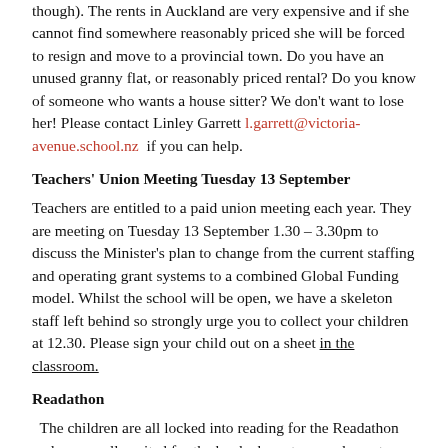though). The rents in Auckland are very expensive and if she cannot find somewhere reasonably priced she will be forced to resign and move to a provincial town. Do you have an unused granny flat, or reasonably priced rental? Do you know of someone who wants a house sitter? We don't want to lose her! Please contact Linley Garrett l.garrett@victoria-avenue.school.nz  if you can help.
Teachers' Union Meeting Tuesday 13 September
Teachers are entitled to a paid union meeting each year. They are meeting on Tuesday 13 September 1.30 – 3.30pm to discuss the Minister's plan to change from the current staffing and operating grant systems to a combined Global Funding model. Whilst the school will be open, we have a skeleton staff left behind so strongly urge you to collect your children at 12.30. Please sign your child out on a sheet in the classroom.
Readathon
The children are all locked into reading for the Readathon and we are all excited for the book character parade next Thursday. This year, all the money raised by the PTS is being